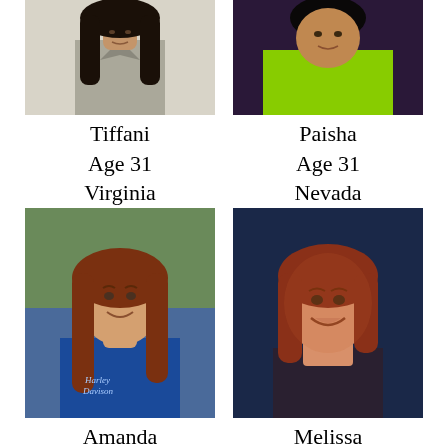[Figure (photo): Partial photo of Tiffani, cropped at top, showing person in gray button-up shirt with long dark hair]
Tiffani
Age 31
Virginia
[Figure (photo): Partial photo of Paisha, cropped at top, showing person in lime green jacket]
Paisha
Age 31
Nevada
[Figure (photo): Photo of Amanda, woman with long reddish-brown hair wearing blue t-shirt, smiling]
Amanda
Age 42
Kansas
[Figure (photo): Photo of Melissa, woman with reddish-brown hair smiling, dark background]
Melissa
Age 53
Texas
[Figure (photo): Partial photo of a woman with dark hair and glasses, cropped at bottom]
[Figure (photo): Partial photo of a woman with dark hair in grayscale, cropped at bottom]